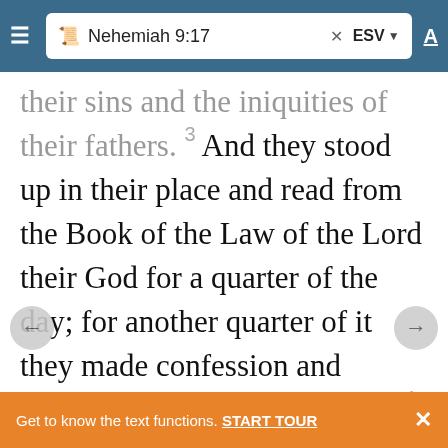Nehemiah 9:17 — ESV
their sins and the iniquities of their fathers. 3 And they stood up in their place and read from the Book of the Law of the Lord their God for a quarter of the day; for another quarter of it they made confession and worshiped the Lord their God. 4 On the stairs of the Levites stood Jeshua, Bani, Kadmiel, Shebaniah, Bunni, Sherebiah, Bani, and Chenani; and they cried with a loud voice to the Lord their
Get to know the text functions. START TOUR